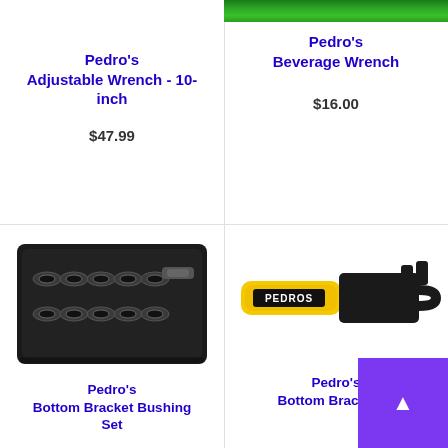Pedro's Adjustable Wrench - 10-inch
$47.99
Pedro's Beverage Wrench
$16.00
[Figure (photo): Green background partial image at top right]
[Figure (photo): Pedro's Bottom Bracket Bushing Set in black foam tray]
[Figure (photo): Pedro's Beverage Wrench / Bottom Bracket Wrench - yellow handle black head]
Pedro's Bottom Bracket Bushing Set
Pedro's Bottom Bracket W...